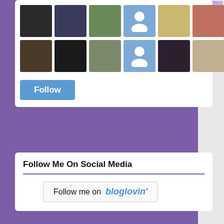[Figure (photo): Grid of follower avatar photos, two rows of 7 avatars each including some placeholder silhouettes]
[Figure (other): Blue Follow button]
Follow Me On Social Media
[Figure (other): Follow me on bloglovin' button badge]
[Figure (logo): BB brand logo — two overlapping B letters inside a dotted circular badge seal]